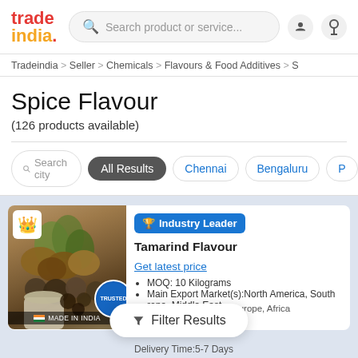trade india. Search product or service...
Tradeindia > Seller > Chemicals > Flavours & Food Additives > S
Spice Flavour
(126 products available)
Search city  All Results  Chennai  Bengaluru  P
Industry Leader
Tamarind Flavour
Get latest price
MOQ: 10 Kilograms
Main Export Market(s):North America, South Europe, Middle East, ral America, Western Europe, Africa
Delivery Time:5-7 Days
Filter Results